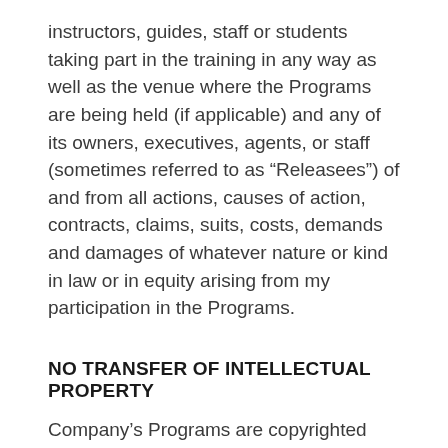instructors, guides, staff or students taking part in the training in any way as well as the venue where the Programs are being held (if applicable) and any of its owners, executives, agents, or staff (sometimes referred to as “Releasees”) of and from all actions, causes of action, contracts, claims, suits, costs, demands and damages of whatever nature or kind in law or in equity arising from my participation in the Programs.
NO TRANSFER OF INTELLECTUAL PROPERTY
Company’s Programs are copyrighted and original materials that have been provided to Client are for Client’s individual use only and a single-user license. Client is not authorized to use any of Company’s intellectual property for Client’s business purposes